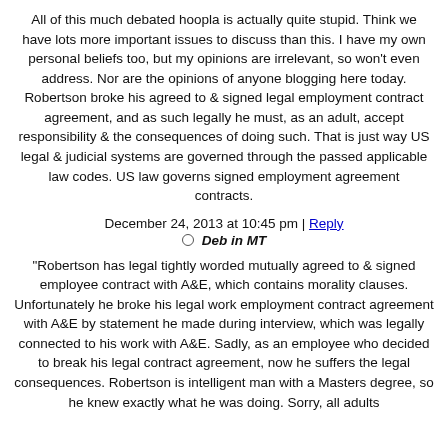All of this much debated hoopla is actually quite stupid. Think we have lots more important issues to discuss than this. I have my own personal beliefs too, but my opinions are irrelevant, so won't even address. Nor are the opinions of anyone blogging here today. Robertson broke his agreed to & signed legal employment contract agreement, and as such legally he must, as an adult, accept responsibility & the consequences of doing such. That is just way US legal & judicial systems are governed through the passed applicable law codes. US law governs signed employment agreement contracts.
December 24, 2013 at 10:45 pm | Reply
Deb in MT
"Robertson has legal tightly worded mutually agreed to & signed employee contract with A&E, which contains morality clauses. Unfortunately he broke his legal work employment contract agreement with A&E by statement he made during interview, which was legally connected to his work with A&E. Sadly, as an employee who decided to break his legal contract agreement, now he suffers the legal consequences. Robertson is intelligent man with a Masters degree, so he knew exactly what he was doing. Sorry, all adults